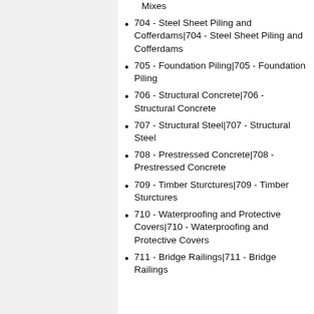Mixes
704 - Steel Sheet Piling and Cofferdams|704 - Steel Sheet Piling and Cofferdams
705 - Foundation Piling|705 - Foundation Piling
706 - Structural Concrete|706 - Structural Concrete
707 - Structural Steel|707 - Structural Steel
708 - Prestressed Concrete|708 - Prestressed Concrete
709 - Timber Sturctures|709 - Timber Sturctures
710 - Waterproofing and Protective Covers|710 - Waterproofing and Protective Covers
711 - Bridge Railings|711 - Bridge Railings